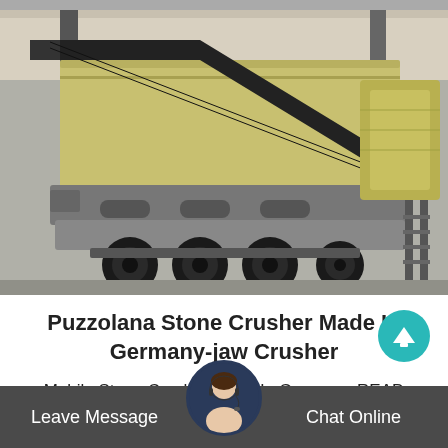[Figure (photo): Large mobile jaw crusher machine on a trailer with heavy wheels, photographed inside an industrial facility. The crusher has a yellow/beige body with a black conveyor belt structure at an angle.]
Puzzolana Stone Crusher Made In Germany-jaw Crusher
Mobile Stone Crusher Made In Germany. READ MORE. Puzzolana stone crusher made in germany puzzolana stone crusher made in germany corrosion..
Leave Message   Chat Online